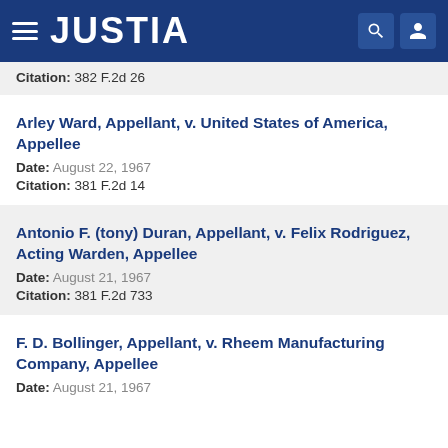JUSTIA
Citation: 382 F.2d 26
Arley Ward, Appellant, v. United States of America, Appellee
Date: August 22, 1967
Citation: 381 F.2d 14
Antonio F. (tony) Duran, Appellant, v. Felix Rodriguez, Acting Warden, Appellee
Date: August 21, 1967
Citation: 381 F.2d 733
F. D. Bollinger, Appellant, v. Rheem Manufacturing Company, Appellee
Date: August 21, 1967